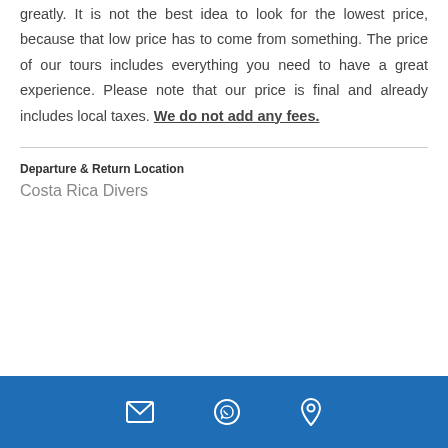greatly. It is not the best idea to look for the lowest price, because that low price has to come from something. The price of our tours includes everything you need to have a great experience. Please note that our price is final and already includes local taxes. We do not add any fees.
Departure & Return Location
Costa Rica Divers
Email | WhatsApp | Location icons